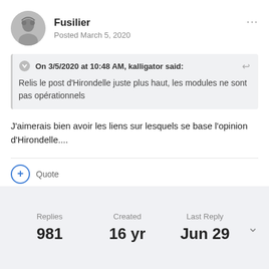Fusilier
Posted March 5, 2020
On 3/5/2020 at 10:48 AM, kalligator said:
Relis le post d'Hirondelle juste plus haut, les modules ne sont pas opérationnels
J'aimerais bien avoir les liens sur lesquels se base l'opinion d'Hirondelle....
+ Quote
Replies 981
Created 16 yr
Last Reply Jun 29